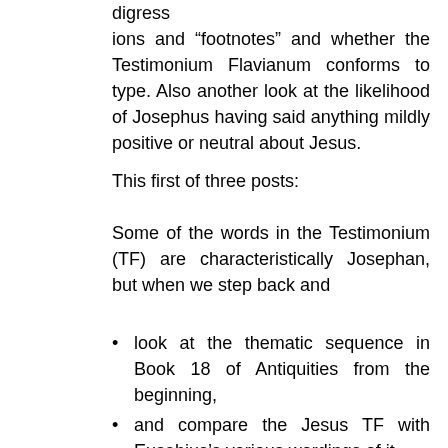digress
ions and “footnotes” and whether the Testimonium Flavianum conforms to type. Also another look at the likelihood of Josephus having said anything mildly positive or neutral about Jesus.
This first of three posts:
Some of the words in the Testimonium (TF) are characteristically Josephan, but when we step back and
look at the thematic sequence in Book 18 of Antiquities from the beginning,
and compare the Jesus TF with Eusebius’s various wordings of it,
and compare the images each of the two authors deployed to express their respective agendas,